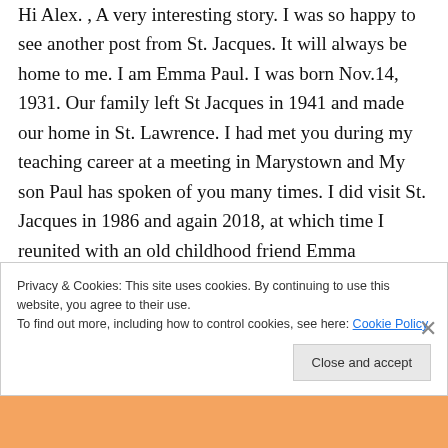Hi Alex. , A very interesting story. I was so happy to see another post from St. Jacques. It will always be home to me. I am Emma Paul. I was born Nov.14, 1931. Our family left St Jacques in 1941 and made our home in St. Lawrence. I had met you during my teaching career at a meeting in Marystown and My son Paul has spoken of you many times. I did visit St. Jacques in 1986 and again 2018, at which time I reunited with an old childhood friend Emma (Bernsie) Skinner. I do enjoy reading and seeing pictures. I did take
Privacy & Cookies: This site uses cookies. By continuing to use this website, you agree to their use.
To find out more, including how to control cookies, see here: Cookie Policy